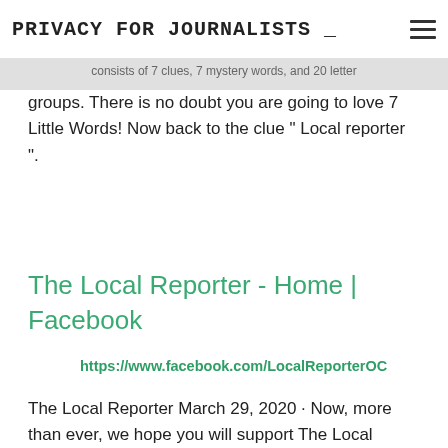PRIVACY FOR JOURNALISTS _
consists of 7 clues, 7 mystery words, and 20 letter groups. There is no doubt you are going to love 7 Little Words! Now back to the clue " Local reporter ".
The Local Reporter - Home | Facebook
https://www.facebook.com/LocalReporterOC
The Local Reporter March 29, 2020 · Now, more than ever, we hope you will support The Local